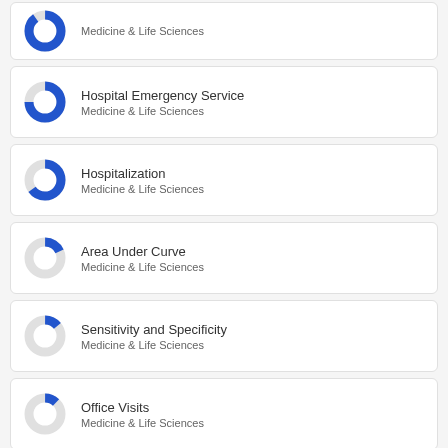Medicine & Life Sciences (partial card at top)
Hospital Emergency Service
Medicine & Life Sciences
Hospitalization
Medicine & Life Sciences
Area Under Curve
Medicine & Life Sciences
Sensitivity and Specificity
Medicine & Life Sciences
Office Visits
Medicine & Life Sciences
Patient Acceptance of Health Care
Medicine & Life Sciences